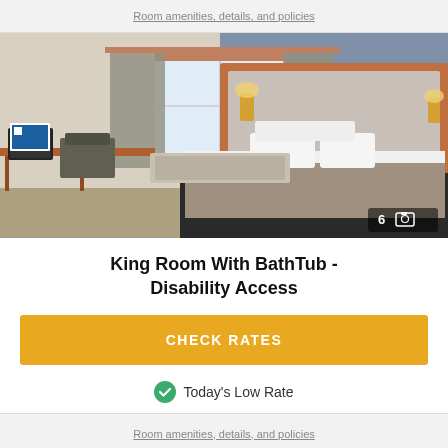Room amenities, details, and policies
[Figure (photo): Hotel king room with bathtub and disability access: large bed with white pillows and grey/brown bedding, orange headboard frame, blue/grey wall, desk with chair, window with curtains, TV, wall lamps. Photo count badge showing 6 images.]
King Room With BathTub - Disability Access
CHECK RATES
Today's Low Rate
Room amenities, details, and policies